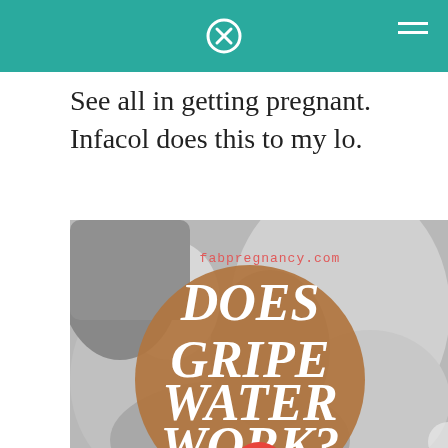See all in getting pregnant. Infacol does this to my lo.
[Figure (photo): Black and white photo of a mother holding a baby close to her face. Overlaid with a brown circle containing bold white italic text reading 'DOES GRIPE WATER WORK?' and watermark text 'fabpregnancy.com' in salmon/coral color. A red circle with a close/X icon appears at the bottom.]